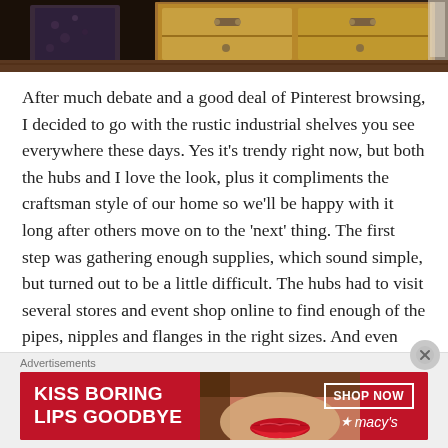[Figure (photo): Top portion of a room photo showing wooden furniture (dresser/cabinet) with hardware, dark wood flooring, and partial view of walls. Appears to be cut off at bottom of image strip.]
After much debate and a good deal of Pinterest browsing, I decided to go with the rustic industrial shelves you see everywhere these days.  Yes it’s trendy right now, but both the hubs and I love the look, plus it compliments the craftsman style of our home so we’ll be happy with it long after others move on to the ‘next’ thing.  The first step was gathering enough supplies, which sound simple, but turned out to be a little difficult.  The hubs had to visit several stores and event shop online to find enough of the pipes, nipples and flanges in the right sizes.  And even when he did find
Advertisements
[Figure (photo): Advertisement banner for Macy's lipstick/beauty product. Red background with white bold text 'KISS BORING LIPS GOODBYE', image of woman's face/lips with red lipstick, 'SHOP NOW' button, and Macy's star logo.]